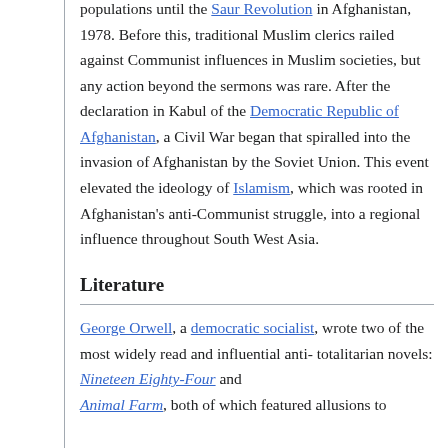populations until the Saur Revolution in Afghanistan, 1978. Before this, traditional Muslim clerics railed against Communist influences in Muslim societies, but any action beyond the sermons was rare. After the declaration in Kabul of the Democratic Republic of Afghanistan, a Civil War began that spiralled into the invasion of Afghanistan by the Soviet Union. This event elevated the ideology of Islamism, which was rooted in Afghanistan's anti-Communist struggle, into a regional influence throughout South West Asia.
Literature
George Orwell, a democratic socialist, wrote two of the most widely read and influential anti-totalitarian novels: Nineteen Eighty-Four and Animal Farm, both of which featured allusions to